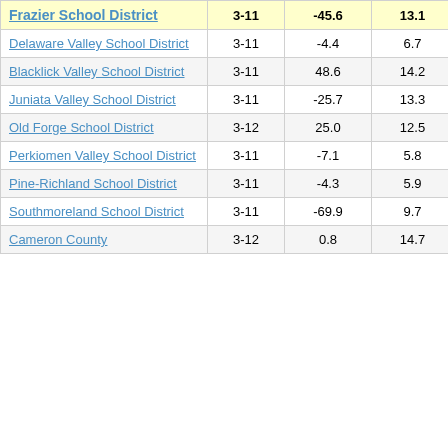| School District | Grades | Value 1 | Value 2 | Score |
| --- | --- | --- | --- | --- |
| Frazier School District | 3-11 | -45.6 | 13.1 | -3.46 |
| Delaware Valley School District | 3-11 | -4.4 | 6.7 | -0.66 |
| Blacklick Valley School District | 3-11 | 48.6 | 14.2 | 3.42 |
| Juniata Valley School District | 3-11 | -25.7 | 13.3 | -1.92 |
| Old Forge School District | 3-12 | 25.0 | 12.5 | 2.00 |
| Perkiomen Valley School District | 3-11 | -7.1 | 5.8 | -1.21 |
| Pine-Richland School District | 3-11 | -4.3 | 5.9 | -0.72 |
| Southmoreland School District | 3-11 | -69.9 | 9.7 | -7.22 |
| Cameron County | 3-12 | 0.8 | 14.7 | -0.05 |